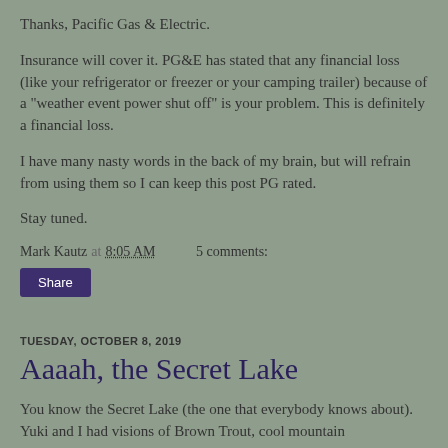Thanks, Pacific Gas & Electric.
Insurance will cover it. PG&E has stated that any financial loss (like your refrigerator or freezer or your camping trailer) because of a "weather event power shut off" is your problem. This is definitely a financial loss.
I have many nasty words in the back of my brain, but will refrain from using them so I can keep this post PG rated.
Stay tuned.
Mark Kautz at 8:05 AM    5 comments:
Share
TUESDAY, OCTOBER 8, 2019
Aaaah, the Secret Lake
You know the Secret Lake (the one that everybody knows about). Yuki and I had visions of Brown Trout, cool mountain